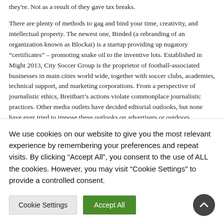they're. Not as a result of they gave tax breaks.
There are plenty of methods to gag and bind your time, creativity, and intellectual property. The newest one, Binded (a rebranding of an organization known as Blockai) is a startup providing up nugatory “certificates” – promoting snake oil to the inventive lots. Established in Might 2013, City Soccer Group is the proprietor of football-associated businesses in main cities world wide, together with soccer clubs, academies, technical support, and marketing corporations. From a perspective of journalistic ethics, Breitbart’s actions violate commonplace journalistic practices. Other media outlets have decided editorial outlooks, but none have ever tried to impose these outlooks on advertisers or outdoors businesses earlier than. Breitbart’s name for a boycott is clearly meant to ship a message that brands had higher align with or help its political perspective — or face (purported) financial penalties.
Social media are relative new to society, however this isn’t the first time new
We use cookies on our website to give you the most relevant experience by remembering your preferences and repeat visits. By clicking “Accept All”, you consent to the use of ALL the cookies. However, you may visit "Cookie Settings" to provide a controlled consent.